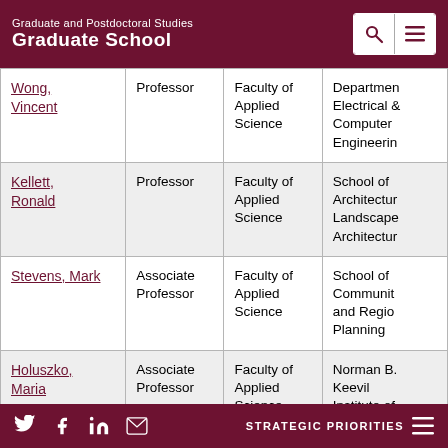Graduate and Postdoctoral Studies Graduate School
| Name | Rank | Faculty | Department/School |
| --- | --- | --- | --- |
| Wong, Vincent | Professor | Faculty of Applied Science | Department of Electrical & Computer Engineering |
| Kellett, Ronald | Professor | Faculty of Applied Science | School of Architecture, Landscape Architecture |
| Stevens, Mark | Associate Professor | Faculty of Applied Science | School of Community and Regional Planning |
| Holuszko, Maria | Associate Professor | Faculty of Applied Science | Norman B. Keevil Institute of |
STRATEGIC PRIORITIES